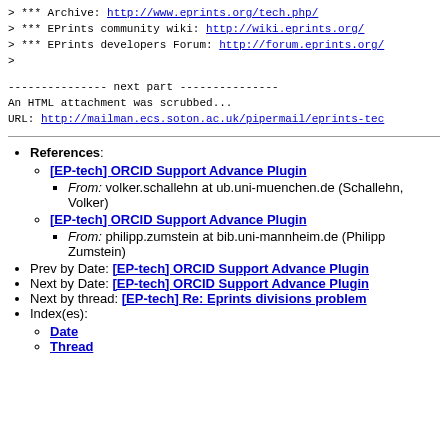> *** Archive: http://www.eprints.org/tech.php/
> *** EPrints community wiki: http://wiki.eprints.org/
> *** EPrints developers Forum: http://forum.eprints.org/
>
--------------- next part ---------------
An HTML attachment was scrubbed...
URL: http://mailman.ecs.soton.ac.uk/pipermail/eprints-tec
References:
[EP-tech] ORCID Support Advance Plugin
From: volker.schallehn at ub.uni-muenchen.de (Schallehn, Volker)
[EP-tech] ORCID Support Advance Plugin
From: philipp.zumstein at bib.uni-mannheim.de (Philipp Zumstein)
Prev by Date: [EP-tech] ORCID Support Advance Plugin
Next by Date: [EP-tech] ORCID Support Advance Plugin
Next by thread: [EP-tech] Re: Eprints divisions problem
Index(es):
Date
Thread